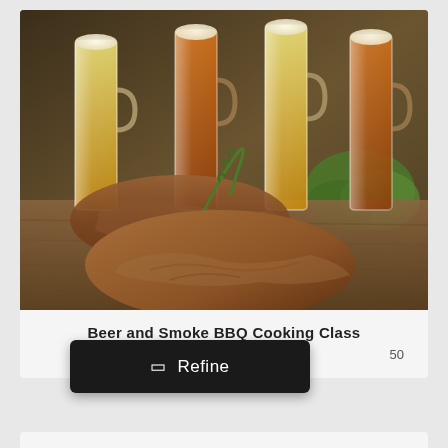[Figure (photo): Photo of four tall beer mugs/glasses filled with golden and amber beer, positioned behind grilled BBQ steaks/meat with rosemary herb garnish, red berries/peppercorns scattered on a rustic wooden surface, with green lettuce visible in the background.]
Beer and Smoke BBQ Cooking Class
50
⊞  Refine